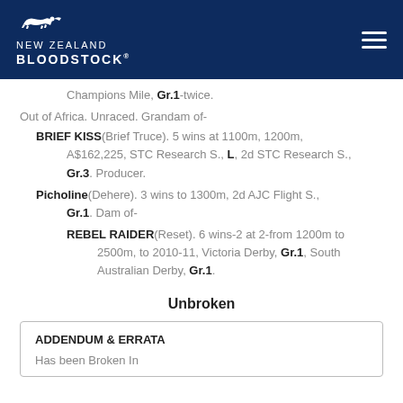NEW ZEALAND BLOODSTOCK
Champions Mile, Gr.1-twice.
Out of Africa. Unraced. Grandam of-
BRIEF KISS(Brief Truce). 5 wins at 1100m, 1200m, A$162,225, STC Research S., L, 2d STC Research S., Gr.3. Producer.
Picholine(Dehere). 3 wins to 1300m, 2d AJC Flight S., Gr.1. Dam of-
REBEL RAIDER(Reset). 6 wins-2 at 2-from 1200m to 2500m, to 2010-11, Victoria Derby, Gr.1, South Australian Derby, Gr.1.
Unbroken
ADDENDUM & ERRATA
Has been Broken In